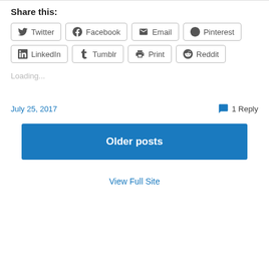Share this:
Twitter
Facebook
Email
Pinterest
LinkedIn
Tumblr
Print
Reddit
Loading...
July 25, 2017
1 Reply
Older posts
View Full Site